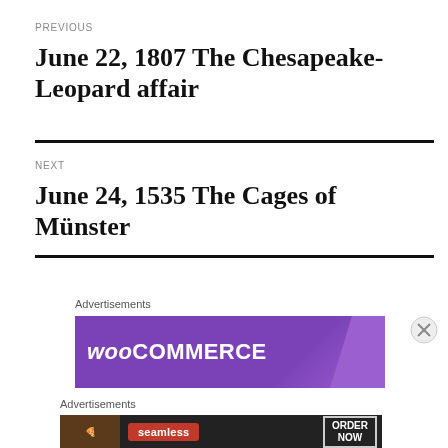PREVIOUS
June 22, 1807 The Chesapeake-Leopard affair
NEXT
June 24, 1535 The Cages of Münster
Advertisements
[Figure (other): WooCommerce advertisement banner with purple background and logo text]
Advertisements
[Figure (other): Seamless food delivery advertisement banner with pizza image, seamless badge, and ORDER NOW button]